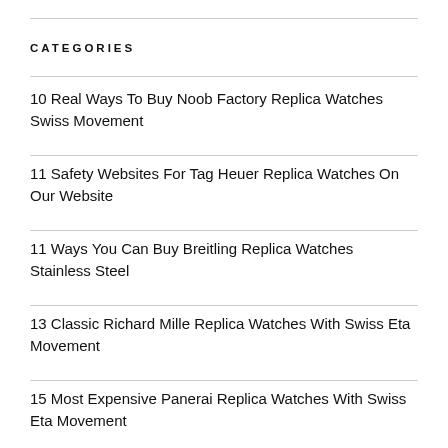CATEGORIES
10 Real Ways To Buy Noob Factory Replica Watches Swiss Movement
11 Safety Websites For Tag Heuer Replica Watches On Our Website
11 Ways You Can Buy Breitling Replica Watches Stainless Steel
13 Classic Richard Mille Replica Watches With Swiss Eta Movement
15 Most Expensive Panerai Replica Watches With Swiss Eta Movement
15 Most Retro Patek Philippe Replica Watches On Our